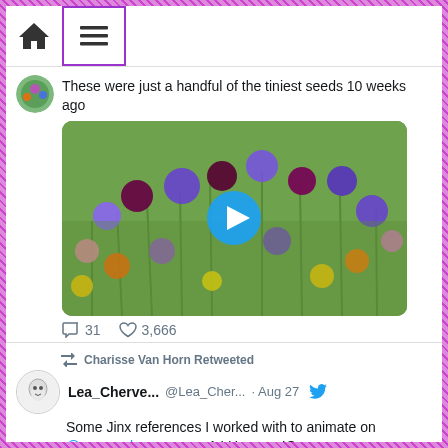Home icon and menu (hamburger) icon in header bar
These were just a handful of the tiniest seeds 10 weeks ago
[Figure (photo): Video thumbnail showing a colorful wildflower field with purple, maroon, pink, orange and yellow flowers with a blue play button overlay in the center]
31 replies  3,666 likes
Charisse Van Horn Retweeted
Lea_Cherve... @Lea_Cher... · Aug 27
Some Jinx references I worked with to animate on @arcaneshow season 1 ! Here on IG : instagram.com/p/ChxrcvBggFV/